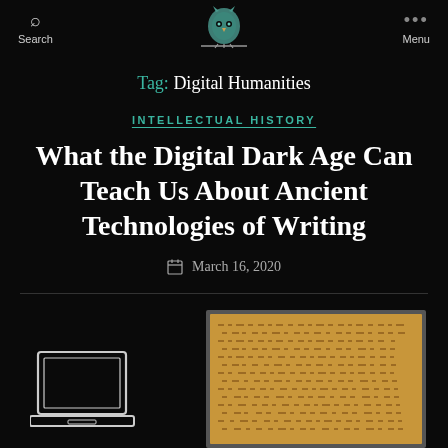Search   [owl logo]   Menu
Tag: Digital Humanities
INTELLECTUAL HISTORY
What the Digital Dark Age Can Teach Us About Ancient Technologies of Writing
March 16, 2020
[Figure (illustration): Composite illustration showing a laptop outline on the left and a cuneiform clay tablet photograph on the right, against a dark background]